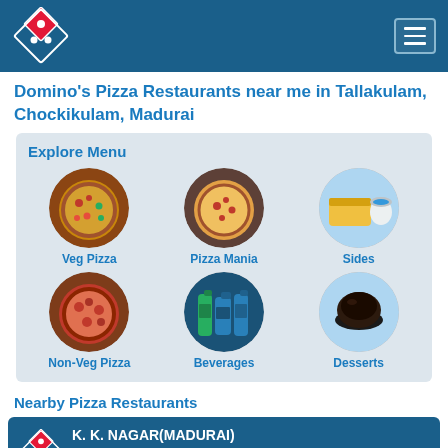[Figure (logo): Domino's Pizza logo in header navigation bar with hamburger menu icon]
Domino's Pizza Restaurants near me in Tallakulam, Chockikulam, Madurai
Explore Menu
[Figure (infographic): Grid of 6 circular food category images: Veg Pizza, Pizza Mania, Sides, Non-Veg Pizza, Beverages, Desserts]
Nearby Pizza Restaurants
[Figure (infographic): Restaurant card showing K. K. NAGAR(MADURAI) with Domino's logo and star rating]